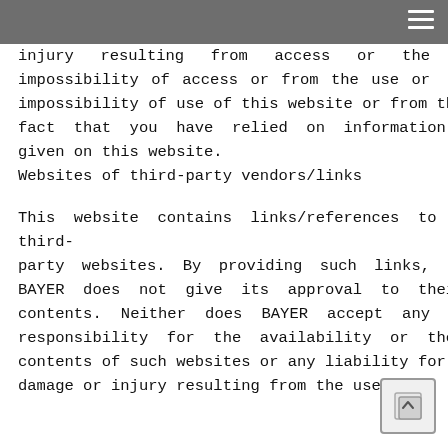injury resulting from access or the impossibility of access or from the use or impossibility of use of this website or from the fact that you have relied on information given on this website.
Websites of third-party vendors/links
This website contains links/references to third-party websites. By providing such links, BAYER does not give its approval to their contents. Neither does BAYER accept any responsibility for the availability or the contents of such websites or any liability for damage or injury resulting from the use of